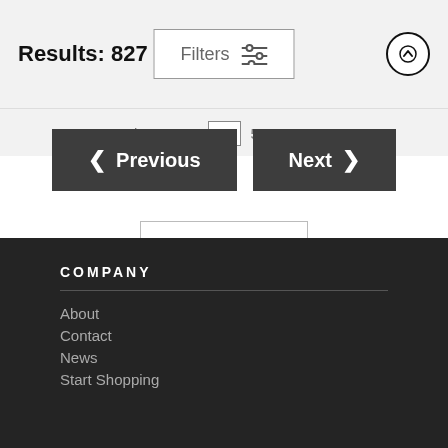Results: 827  Filters
Previous  8  9  1  5  6  10  Next
< Previous   Next >
Wall Art
COMPANY
About
Contact
News
Start Shopping